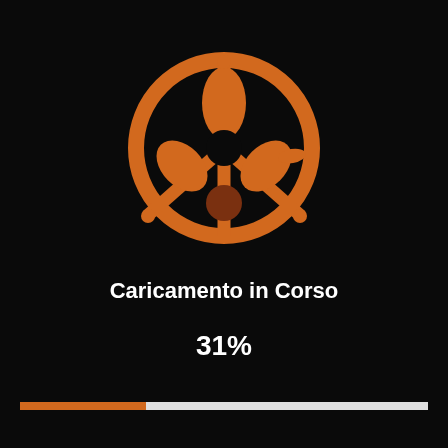[Figure (logo): Orange stylized tribal/abstract logo mark on black background, circular design with organic shapes resembling interlinked figures or a peace symbol rendered in orange]
Caricamento in Corso
31%
[Figure (infographic): Loading progress bar at 31%: orange filled portion on left, white/light gray track on right]